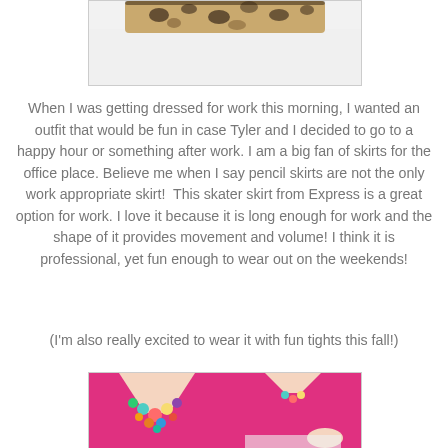[Figure (photo): Partial view of an animal print item (belt or bag) at the top of the page, cropped]
When I was getting dressed for work this morning, I wanted an outfit that would be fun in case Tyler and I decided to go to a happy hour or something after work. I am a big fan of skirts for the office place. Believe me when I say pencil skirts are not the only work appropriate skirt!  This skater skirt from Express is a great option for work. I love it because it is long enough for work and the shape of it provides movement and volume! I think it is professional, yet fun enough to wear out on the weekends!
(I'm also really excited to wear it with fun tights this fall!)
[Figure (photo): Two photos side by side of a woman wearing a pink blouse with a colorful statement necklace on the left, and a full blouse view on the right]